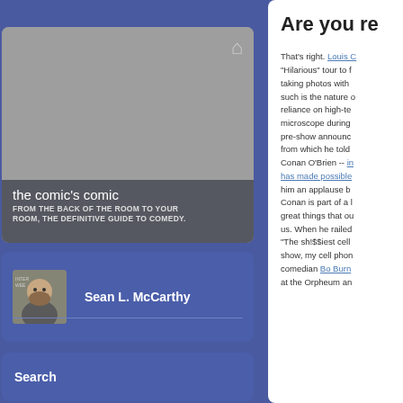[Figure (screenshot): Website screenshot of 'the comic's comic' blog showing header/hero area with gray image placeholder, house/home icon, site title and subtitle]
the comic's comic
FROM THE BACK OF THE ROOM TO YOUR ROOM, THE DEFINITIVE GUIDE TO COMEDY.
[Figure (photo): Author photo of Sean L. McCarthy, a bearded man in front of a sign]
Sean L. McCarthy
Search
Are you re
That's right. Louis C... "Hilarious" tour to f... taking photos with ... such is the nature o... reliance on high-te... microscope during ... pre-show announc... from which he told ... Conan O'Brien -- i... has made possible... him an applause b... Conan is part of a ... great things that ou... us. When he railed ... "The sh!$$iest cell ... show, my cell phon... comedian Bo Burn... at the Orpheum an...